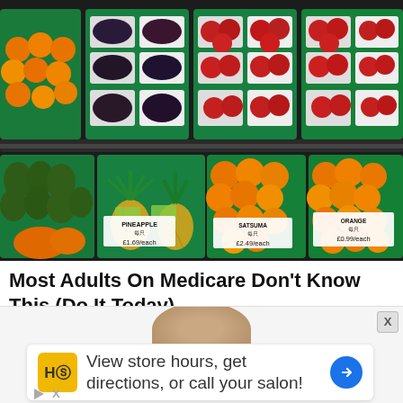[Figure (photo): A fruit market display showing green bins with pineapples, oranges, apples, grapes, and other fruits. Price tags visible: PINEAPPLE £1.69, SATSUMA £2.49, ORANGE £0.99.]
Most Adults On Medicare Don't Know This (Do It Today)
Q Medicare
[Figure (other): Advertisement banner with partial head of a person visible at top, HC logo in yellow/orange square, and text: View store hours, get directions, or call your salon! with a blue diamond arrow icon. Play and skip X buttons visible.]